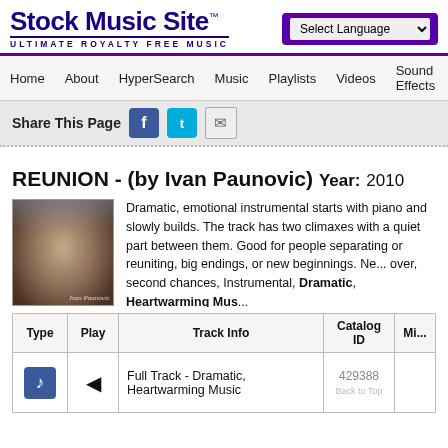Stock Music Site - ULTIMATE ROYALTY FREE MUSIC
Select Language | Home | About | HyperSearch | Music | Playlists | Videos | Sound Effects | Arti...
Share This Page
REUNION - (by Ivan Paunovic) Year: 2010
Dramatic, emotional instrumental starts with piano and slowly builds. The track has two climaxes with a quiet part between them. Good for people separating or reuniting, big endings, or new beginnings. Ne... over, second chances, Instrumental, Dramatic, Heartwarming Mus...
| Type | Play | Track Info | Catalog ID | Mi... |
| --- | --- | --- | --- | --- |
| [music icon] | [speaker icon] | Full Track - Dramatic, Heartwarming Music | 429388 |  |